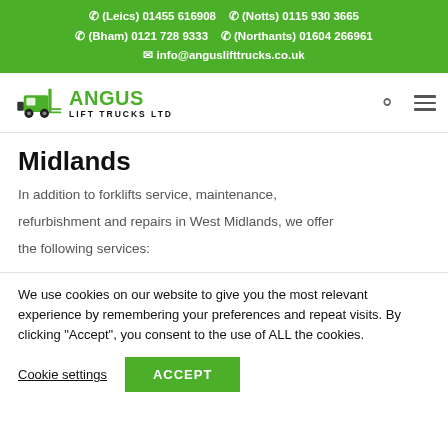(Leics) 01455 616908  (Notts) 0115 930 3665  (Bham) 0121 728 9333  (Northants) 01604 266961  info@anguslifttrucks.co.uk
[Figure (logo): Angus Lift Trucks Ltd logo with forklift icon and company name in green and black]
Midlands
In addition to forklifts service, maintenance, refurbishment and repairs in West Midlands, we offer the following services:
We use cookies on our website to give you the most relevant experience by remembering your preferences and repeat visits. By clicking "Accept", you consent to the use of ALL the cookies.